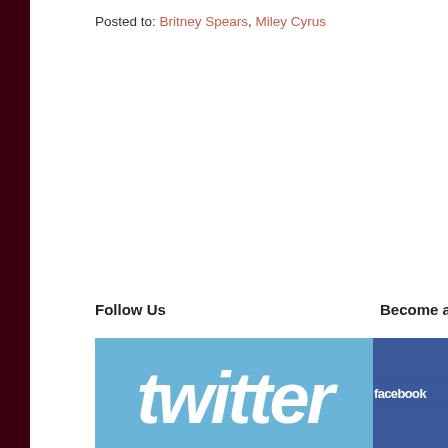Posted to: Britney Spears, Miley Cyrus
Follow Us
Become a Fan on Facebook
[Figure (logo): Twitter logo button - light blue background with white 'twitter' text in rounded italic font]
[Figure (logo): Facebook logo button - dark blue background with white 'facebook' text]